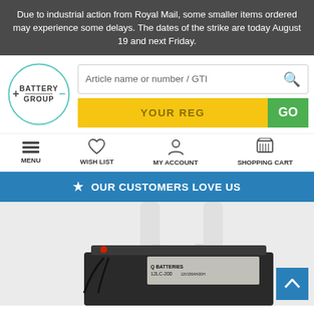Due to industrial action from Royal Mail, some smaller items ordered may experience some delays. The dates of the strike are today August 19 and next Friday.
[Figure (logo): Battery Group logo — circle with + and - symbols, text BATTERY GROUP inside]
Article name or number / GTI
YOUR REG  GO
MENU  WISH LIST  MY ACCOUNT  SHOPPING CART
OUR CUSTOMERS LOVE US
[Figure (photo): A large 12V battery (12LC-200) photographed against a white background with white poles/posts visible behind it. The battery is black with a label. A blue scroll-to-top button appears in the bottom right corner.]